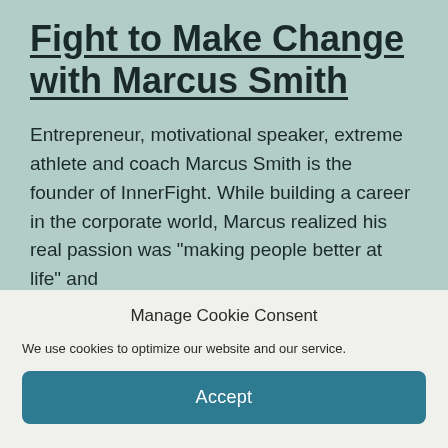Fight to Make Change with Marcus Smith
Entrepreneur, motivational speaker, extreme athlete and coach Marcus Smith is the founder of InnerFight. While building a career in the corporate world, Marcus realized his real passion was “making people better at life” and
Manage Cookie Consent
We use cookies to optimize our website and our service.
Accept